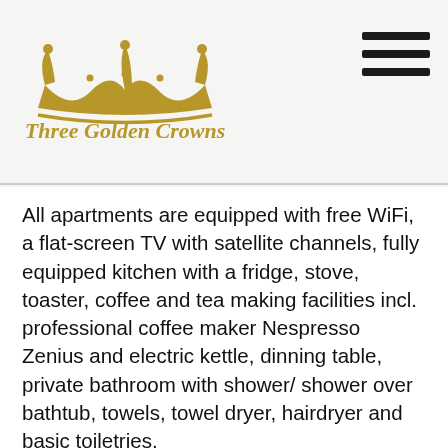Three Golden Crowns
All apartments are equipped with free WiFi, a flat-screen TV with satellite channels, fully equipped kitchen with a fridge, stove, toaster, coffee and tea making facilities incl. professional coffee maker Nespresso Zenius and electric kettle, dinning table,  private bathroom with shower/ shower over bathtub, towels, towel dryer, hairdryer and basic toiletries.
Three Golden Crowns Apartments is situated right next to St. Nicholas Church in the upper part of  Malostranske Square in the heart of Prague.
All important historical sights and monuments such as Prague Castle, St. Vitus´ Cathedral, Charles Bridge, Lennon Wall, Kampa Park, Old Towns Square with Astronomical Clock, Old Jewish Town, Petrin hill with...